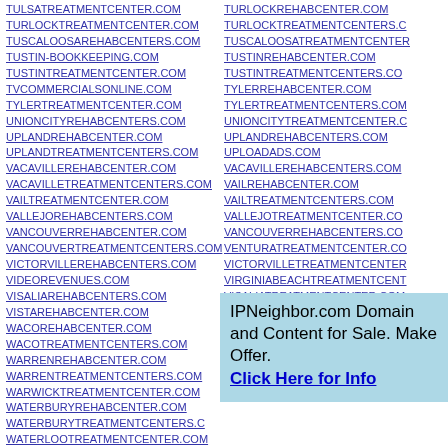TULSATREATMENTCENTER.COM
TURLOCKTREATMENTCENTER.COM
TUSCALOOSAREHABCENTERS.COM
TUSTIN-BOOKKEEPING.COM
TUSTINTREATMENTCENTER.COM
TVCOMMERCIALSONLINE.COM
TYLERTREATMENTCENTER.COM
UNIONCITYREHABCENTERS.COM
UPLANDREHABCENTER.COM
UPLANDTREATMENTCENTERS.COM
VACAVILLEREHABCENTER.COM
VACAVILLETREATMENTCENTERS.COM
VAILTREATMENTCENTER.COM
VALLEJOREHABCENTERS.COM
VANCOUVERREHABCENTER.COM
VANCOUVERTREATMENTCENTERS.COM
VICTORVILLEREHABCENTERS.COM
VIDEOREVENUES.COM
VISALIAREHABCENTERS.COM
VISTAREHABCENTER.COM
WACOREHABCENTER.COM
WACOTREATMENTCENTERS.COM
WARRENREHABCENTER.COM
WARRENTREATMENTCENTERS.COM
WARWICKTREATMENTCENTER.COM
WATERBURYREHABCENTER.COM
WATERBURYTREATMENTCENTERS.C
WATERLOOTREATMENTCENTER.COM
TURLOCKREHABCENTER.COM
TURLOCKTREATMENTCENTERS.C
TUSCALOOSATREATMENTCENTER
TUSTINREHABCENTER.COM
TUSTINTREATMENTCENTERS.CO
TYLERREHABCENTER.COM
TYLERTREATMENTCENTERS.COM
UNIONCITYTREATMENTCENTER.C
UPLANDREHABCENTERS.COM
UPLOADADS.COM
VACAVILLEREHABCENTERS.COM
VAILREHABCENTER.COM
VAILTREATMENTCENTERS.COM
VALLEJOTREATMENTCENTER.CO
VANCOUVERREHABCENTERS.CO
VENTURATREATMENTCENTER.CO
VICTORVILLETREATMENTCENTER
VIRGINIABEACHTREATMENTCENT
VISALIATREATMENTCENTER.COM
VISTAREHABCENTERS.COM
WACOREHABCENTERS.COM
WALNUTCREEKREHABCENTER.CO
WARRENREHABCENTERS.COM
IPNeighbor.com Domain and Content for Sale. Make Offer. Click Here for Info